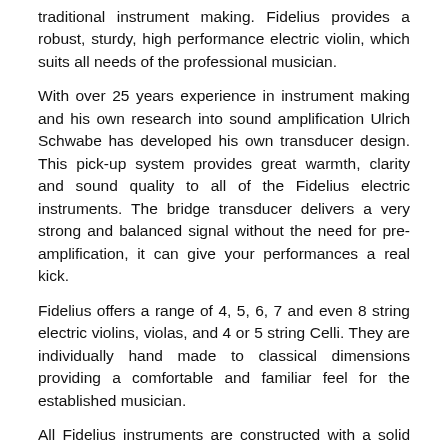traditional instrument making. Fidelius provides a robust, sturdy, high performance electric violin, which suits all needs of the professional musician.
With over 25 years experience in instrument making and his own research into sound amplification Ulrich Schwabe has developed his own transducer design. This pick-up system provides great warmth, clarity and sound quality to all of the Fidelius electric instruments. The bridge transducer delivers a very strong and balanced signal without the need for pre-amplification, it can give your performances a real kick.
Fidelius offers a range of 4, 5, 6, 7 and even 8 string electric violins, violas, and 4 or 5 string Celli. They are individually hand made to classical dimensions providing a comfortable and familiar feel for the established musician.
All Fidelius instruments are constructed with a solid poplar wood frame laminated with walnut as standard, this gives superior strength and rigidity whilst retaining lightness and ease of playability.
There are a great choice of finishes from natural wood